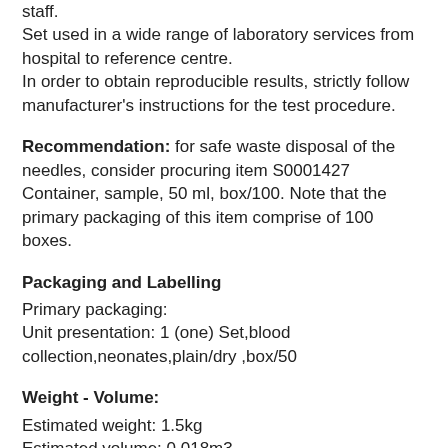…should be conducted by appropriately trained staff.
Set used in a wide range of laboratory services from hospital to reference centre.
In order to obtain reproducible results, strictly follow manufacturer's instructions for the test procedure.
Recommendation: for safe waste disposal of the needles, consider procuring item S0001427 Container, sample, 50 ml, box/100. Note that the primary packaging of this item comprise of 100 boxes.
Packaging and Labelling
Primary packaging:
Unit presentation: 1 (one) Set,blood collection,neonates,plain/dry ,box/50
Weight - Volume:
Estimated weight: 1.5kg
Estimated volume: 0.018m3